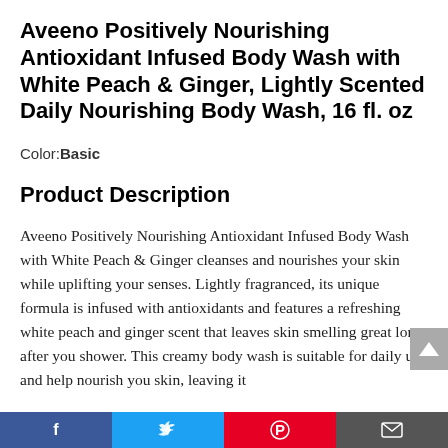Aveeno Positively Nourishing Antioxidant Infused Body Wash with White Peach & Ginger, Lightly Scented Daily Nourishing Body Wash, 16 fl. oz
Color: Basic
Product Description
Aveeno Positively Nourishing Antioxidant Infused Body Wash with White Peach & Ginger cleanses and nourishes your skin while uplifting your senses. Lightly fragranced, its unique formula is infused with antioxidants and features a refreshing white peach and ginger scent that leaves skin smelling great long after you shower. This creamy body wash is suitable for daily use and help nourish you skin, leaving it
Facebook | Twitter | Pinterest | Email